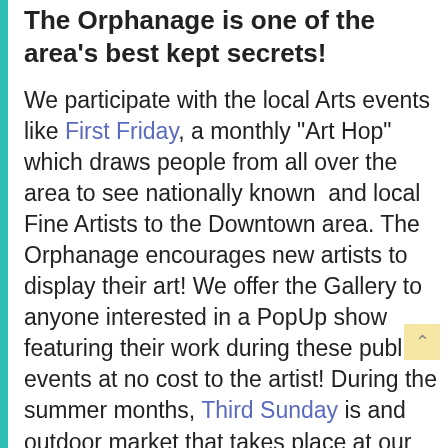The Orphanage is one of the area's best kept secrets!
We participate with the local Arts events like First Friday, a monthly "Art Hop" which draws people from all over the area to see nationally known  and local Fine Artists to the Downtown area. The Orphanage encourages new artists to display their art! We offer the Gallery to anyone interested in a PopUp show featuring their work during these public events at no cost to the artist! During the summer months, Third Sunday is and outdoor market that takes place at our front door! Local vendors, farmers, artists and more set up shop for a family...